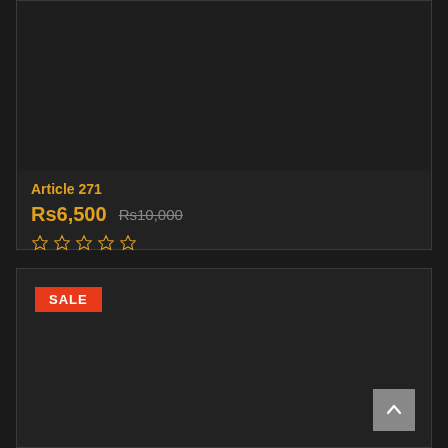[Figure (photo): Product image area, dark background, first product card]
Article 271
Rs6,500  Rs10,000
[Figure (other): Five empty star rating icons in golden/orange color]
[Figure (photo): Second product card with SALE badge, dark background image area]
SALE